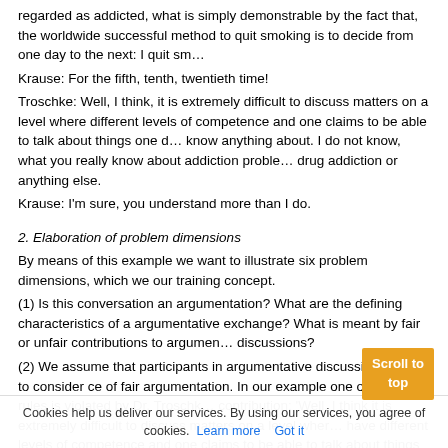regarded as addicted, what is simply demonstrable by the fact that, the worldwide successful method to quit smoking is to decide from one day to the next: I quit sm…
Krause: For the fifth, tenth, twentieth time!
Troschke: Well, I think, it is extremely difficult to discuss matters on a level where different levels of competence and one claims to be able to talk about things one do not know anything about. I do not know, what you really know about addiction proble… drug addiction or anything else.
Krause: I'm sure, you understand more than I do.
2. Elaboration of problem dimensions
By means of this example we want to illustrate six problem dimensions, which we our training concept.
(1) Is this conversation an argumentation? What are the defining characteristics of a argumentative exchange? What is meant by fair or unfair contributions to argumen… discussions?
(2) We assume that participants in argumentative discussions have to consider ce of fair argumentation. In our example one of these rules is violated by Dr. Troschk… contribution: 'Well, I think it is extremely difficult to discuss matters on a level wher… have different levels of competence and one claims to be able to talk about things not know anything about.' We reconstruct this rule violation as a … of d… others, that is the denial of competence. Which rules of fair arg… to…
considered in general argumentation theory have to… argumentation dis…207av h… The reali… what iss…
Cookies help us deliver our services. By using our services, you agree of cookies. Learn more   Got it